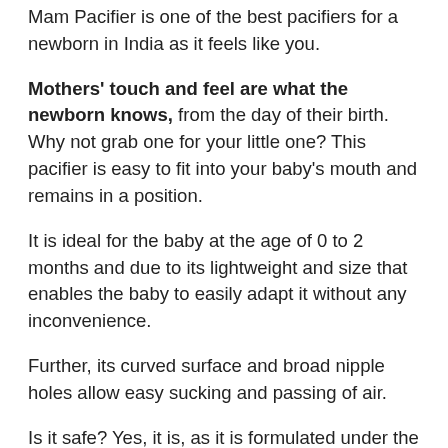Mam Pacifier is one of the best pacifiers for a newborn in India as it feels like you.
Mothers' touch and feel are what the newborn knows, from the day of their birth. Why not grab one for your little one? This pacifier is easy to fit into your baby's mouth and remains in a position.
It is ideal for the baby at the age of 0 to 2 months and due to its lightweight and size that enables the baby to easily adapt it without any inconvenience.
Further, its curved surface and broad nipple holes allow easy sucking and passing of air.
Is it safe? Yes, it is, as it is formulated under the